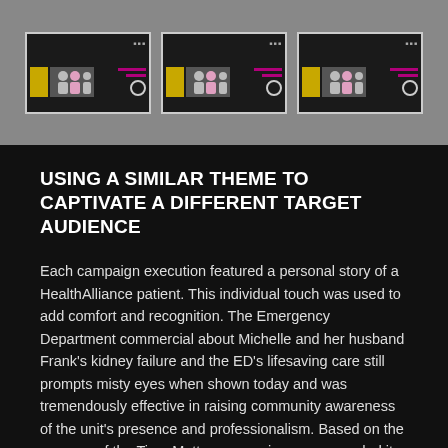[Figure (screenshot): Three thumbnail images of HealthAlliance video campaign executions shown side by side on a gray background]
USING A SIMILAR THEME TO CAPTIVATE A DIFFERENT TARGET AUDIENCE
Each campaign execution featured a personal story of a HealthAlliance patient. This individual touch was used to add comfort and recognition. The Emergency Department commercial about Michelle and her husband Frank’s kidney failure and the ED’s lifesaving care still prompts misty eyes when shown today and was tremendously effective in raising community awareness of the unit’s presence and professionalism. Based on the success of the Time Matters campaign, we expanded its use to promote HAHV’s Cardiac Care and Chest Pain Center.